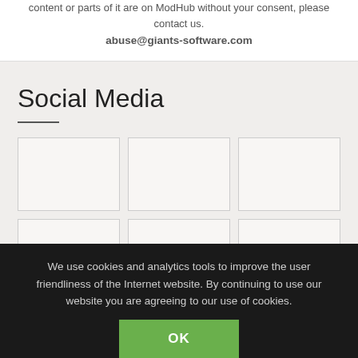content or parts of it are on ModHub without your consent, please contact us.
abuse@giants-software.com
Social Media
[Figure (other): A 2-row grid of 3 placeholder image boxes each, representing social media image thumbnails. Top row fully visible, bottom row partially visible.]
We use cookies and analytics tools to improve the user friendliness of the Internet website. By continuing to use our website you are agreeing to our use of cookies.